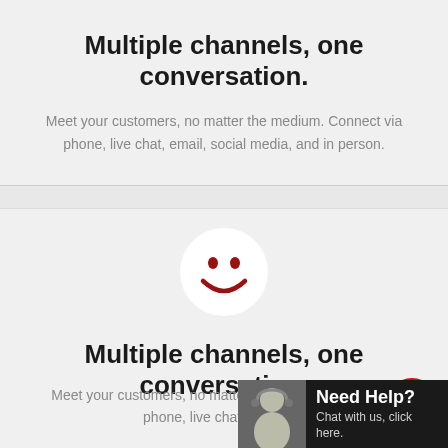Multiple channels, one conversation.
Meet your customers, no matter the medium. Connect via phone, live chat, email, social media, and in person.
[Figure (illustration): A red smiley face icon (two red dots for eyes and a red curved arc for smile) inside a white circular background, representing a customer service or satisfaction icon.]
Multiple channels, one conversation.
Meet your customers, no matter the medium. Connect via phone, live chat, email, so…
[Figure (infographic): A dark chat widget overlay in the bottom right corner showing a woman with a headset and text 'Need Help? Chat with us, click here.' Also a red circular scroll-to-top button with a white upward chevron.]